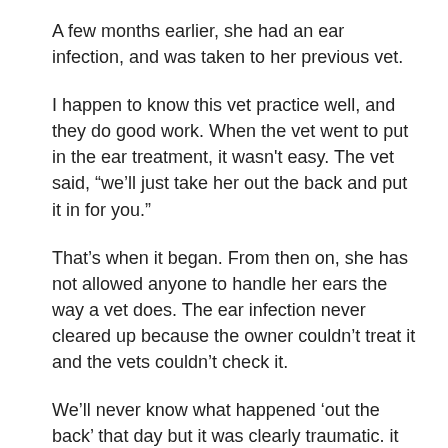A few months earlier, she had an ear infection, and was taken to her previous vet.
I happen to know this vet practice well, and they do good work. When the vet went to put in the ear treatment, it wasn't easy. The vet said, “we’ll just take her out the back and put it in for you.”
That’s when it began. From then on, she has not allowed anyone to handle her ears the way a vet does. The ear infection never cleared up because the owner couldn’t treat it and the vets couldn’t check it.
We’ll never know what happened ‘out the back’ that day but it was clearly traumatic. it was probably nothing more than one nurse holding her while the other put the ointment in her ears. Like I said, it doesn’t take much.